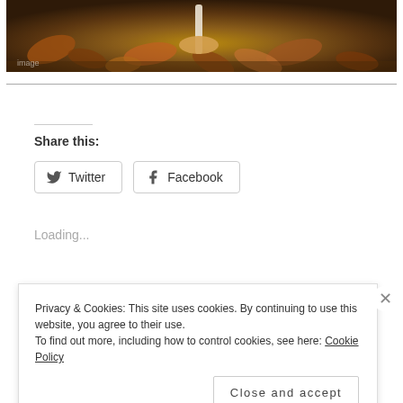[Figure (photo): Close-up photo of a mushroom growing among autumn leaves and organic debris on the ground]
Share this:
Twitter
Facebook
Loading...
Privacy & Cookies: This site uses cookies. By continuing to use this website, you agree to their use.
To find out more, including how to control cookies, see here: Cookie Policy
Close and accept